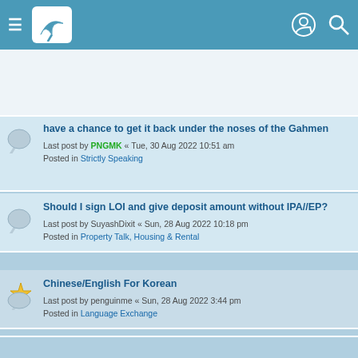Navigation bar with hamburger menu, logo, user icon, and search icon
have a chance to get it back under the noses of the Gahmen
Last post by PNGMK « Tue, 30 Aug 2022 10:51 am
Posted in Strictly Speaking
Should I sign LOI and give deposit amount without IPA//EP?
Last post by SuyashDixit « Sun, 28 Aug 2022 10:18 pm
Posted in Property Talk, Housing & Rental
Chinese/English For Korean
Last post by penguinme « Sun, 28 Aug 2022 3:44 pm
Posted in Language Exchange
New PR applications 2022
Last post by raisins99 « Fri, 26 Aug 2022 7:29 am
Posted in PR, Citizenship, Passes & Visas for Foreigners
Drawing salary from own incorporated company
Last post by kingboy « Wed, 24 Aug 2022 12:01 pm